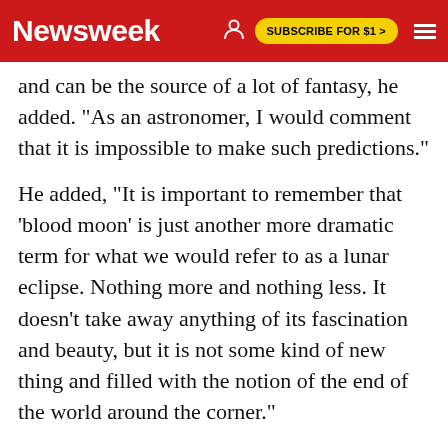Newsweek | SUBSCRIBE FOR $1 >
and can be the source of a lot of fantasy, he added. "As an astronomer, I would comment that it is impossible to make such predictions."
He added, "It is important to remember that 'blood moon' is just another more dramatic term for what we would refer to as a lunar eclipse. Nothing more and nothing less. It doesn't take away anything of its fascination and beauty, but it is not some kind of new thing and filled with the notion of the end of the world around the corner."